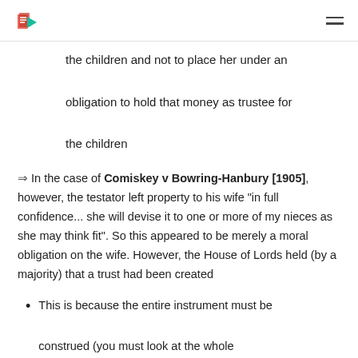[Logo] [Menu]
the children and not to place her under an obligation to hold that money as trustee for the children
⇒ In the case of Comiskey v Bowring-Hanbury [1905], however, the testator left property to his wife "in full confidence... she will devise it to one or more of my nieces as she may think fit". So this appeared to be merely a moral obligation on the wife. However, the House of Lords held (by a majority) that a trust had been created
This is because the entire instrument must be construed (you must look at the whole document, and not just the phrase in isolation)